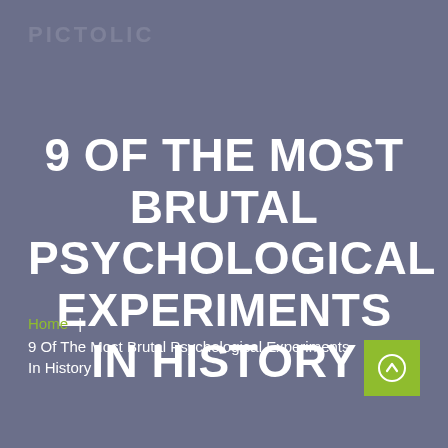PICTOLIC
9 OF THE MOST BRUTAL PSYCHOLOGICAL EXPERIMENTS IN HISTORY
Home | 9 Of The Most Brutal Psychological Experiments In History
[Figure (illustration): Green square button with a white upward arrow circle icon in the bottom-right corner]